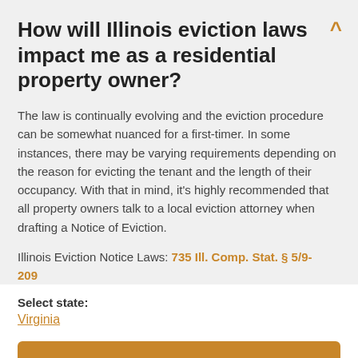How will Illinois eviction laws impact me as a residential property owner?
The law is continually evolving and the eviction procedure can be somewhat nuanced for a first-timer. In some instances, there may be varying requirements depending on the reason for evicting the tenant and the length of their occupancy. With that in mind, it's highly recommended that all property owners talk to a local eviction attorney when drafting a Notice of Eviction.
Illinois Eviction Notice Laws: 735 Ill. Comp. Stat. § 5/9-209
Select state: Virginia
Make document